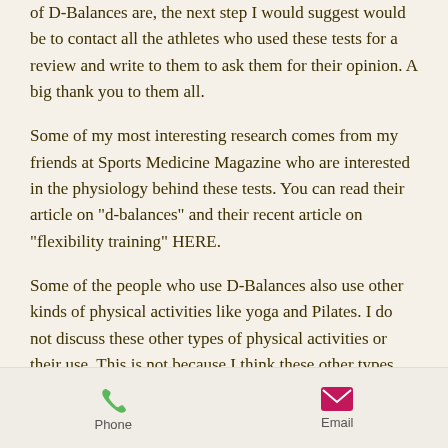of D-Balances are, the next step I would suggest would be to contact all the athletes who used these tests for a review and write to them to ask them for their opinion. A big thank you to them all.
Some of my most interesting research comes from my friends at Sports Medicine Magazine who are interested in the physiology behind these tests. You can read their article on "d-balances" and their recent article on "flexibility training" HERE.
Some of the people who use D-Balances also use other kinds of physical activities like yoga and Pilates. I do not discuss these other types of physical activities or their use. This is not because I think these other types
Phone   Email